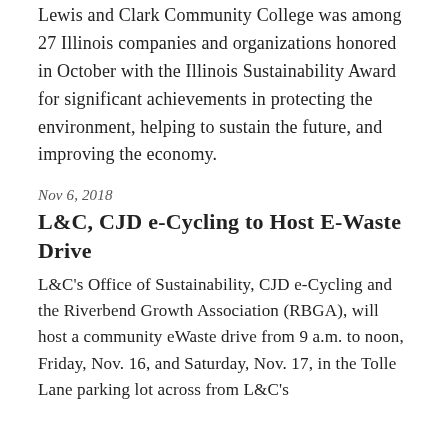Lewis and Clark Community College was among 27 Illinois companies and organizations honored in October with the Illinois Sustainability Award for significant achievements in protecting the environment, helping to sustain the future, and improving the economy.
Nov 6, 2018
L&C, CJD e-Cycling to Host E-Waste Drive
L&C's Office of Sustainability, CJD e-Cycling and the Riverbend Growth Association (RBGA), will host a community eWaste drive from 9 a.m. to noon, Friday, Nov. 16, and Saturday, Nov. 17, in the Tolle Lane parking lot across from L&C's...